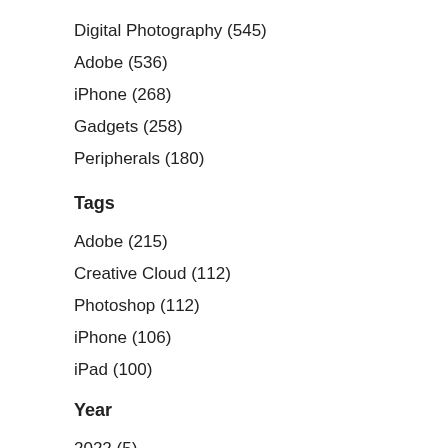Digital Photography (545)
Adobe (536)
iPhone (268)
Gadgets (258)
Peripherals (180)
Tags
Adobe (215)
Creative Cloud (112)
Photoshop (112)
iPhone (106)
iPad (100)
Year
2022 (5)
2021 (20)
2020 (11)
2019 (20)